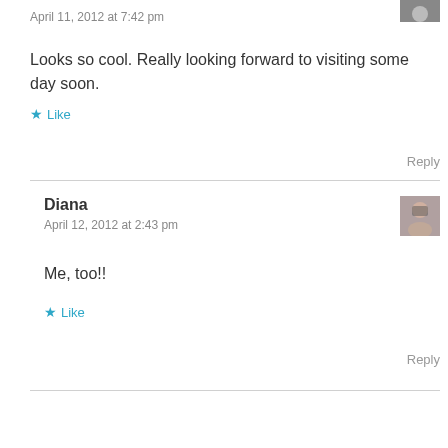April 11, 2012 at 7:42 pm
Looks so cool. Really looking forward to visiting some day soon.
Like
Reply
Diana
April 12, 2012 at 2:43 pm
Me, too!!
Like
Reply